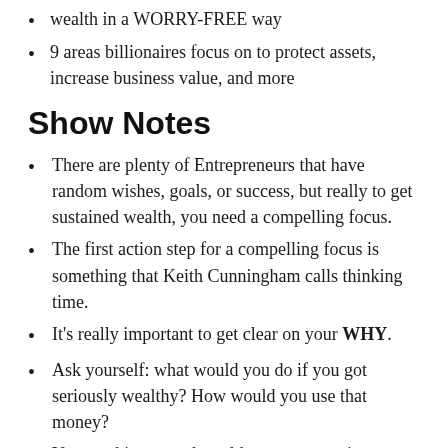wealth in a WORRY-FREE way
9 areas billionaires focus on to protect assets, increase business value, and more
Show Notes
There are plenty of Entrepreneurs that have random wishes, goals, or success, but really to get sustained wealth, you need a compelling focus.
The first action step for a compelling focus is something that Keith Cunningham calls thinking time.
It's really important to get clear on your WHY.
Ask yourself: what would you do if you got seriously wealthy? How would you use that money?
You can hire a good wealth manager to give you a compelling focus.
You don't want to end up like the Entrepreneur